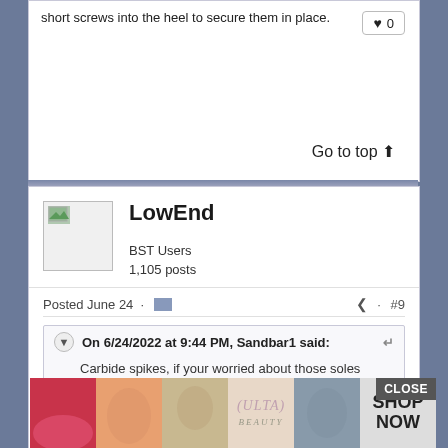short screws into the heel to secure them in place.
Go to top ↑
LowEnd
BST Users
1,105 posts
Posted June 24 · #9
On 6/24/2022 at 9:44 PM, Sandbar1 said:
Carbide spikes, if your worried about those soles...
[Figure (screenshot): Advertisement overlay for Ulta Beauty with makeup images and SHOP NOW button, CLOSE button visible]